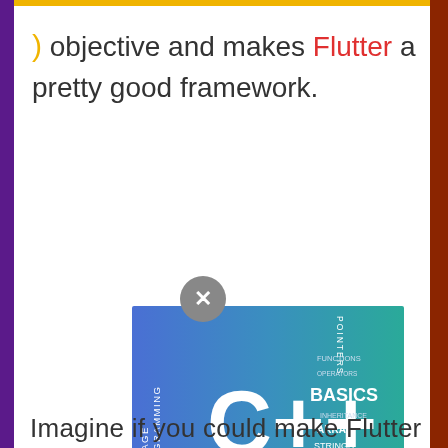) objective and makes Flutter a pretty good framework.
[Figure (illustration): C++ Programming Language word cloud banner with gradient blue-teal background showing C++ logo, words: PROGRAMMING LANGUAGE, POINTERS, FUNCTIONS, BASICS, ARRAY, STRINGS, CONTAINERS]
Imagine if you could make Flutter